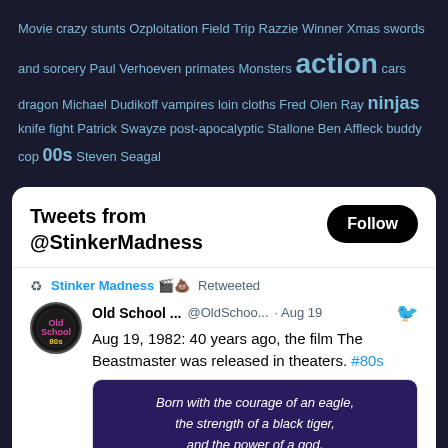Movie crazy stunts Ozploitation Field Trip Razzie Winner Xmas swords and sorcery Paul Verhoeven primates Monsters action cars dragon Michael Dudikoff vampires loin cloths Fred Olen Ray ninjas knife fight Patrick Swayze post-apocalyptic Stallone Ben Affleck buddy cop 00s Steven Seagal
[Figure (screenshot): Tweet card widget showing 'Tweets from @StinkerMadness' with Follow button, a retweet by Stinker Madness, and a tweet from Old School 80s (@OldSchoo...) dated Aug 19 about The Beastmaster 1982 release, with a movie poster image showing text 'Born with the courage of an eagle, the strength of a black tiger, and the power of a god.' with a stylized eye.]